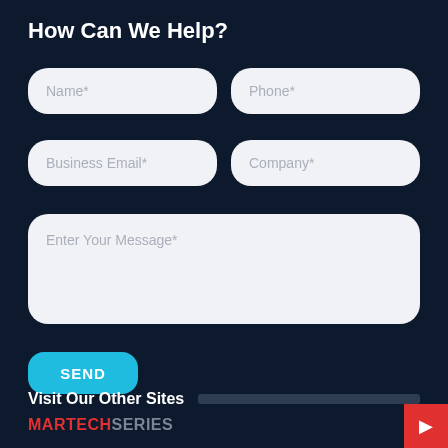How Can We Help?
Name*
Phone*
Business Email*
Company*
Enter Your Message*
SEND
Visit Our Other Sites
MARTECHSERIES